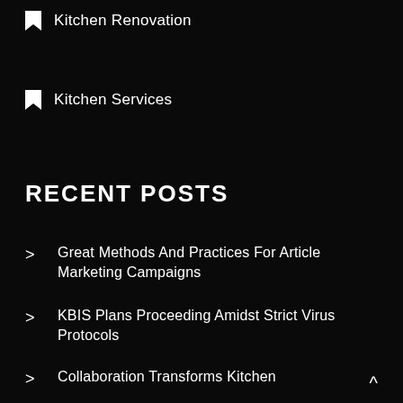Kitchen Renovation
Kitchen Services
RECENT POSTS
Great Methods And Practices For Article Marketing Campaigns
KBIS Plans Proceeding Amidst Strict Virus Protocols
Collaboration Transforms Kitchen